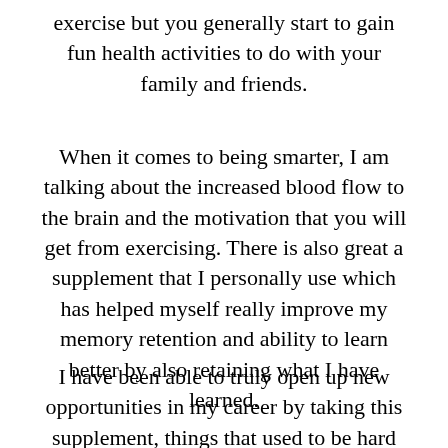exercise but you generally start to gain fun health activities to do with your family and friends.
When it comes to being smarter, I am talking about the increased blood flow to the brain and the motivation that you will get from exercising. There is also great a supplement that I personally use which has helped myself really improve my memory retention and ability to learn better by also retaining what I have learned.
I have been able to truly open up new opportunities in my career by taking this supplement, things that used to be hard are